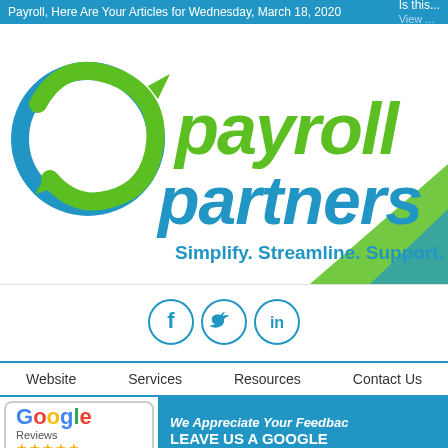Payroll, Here Are Your Articles for Wednesday, March 18, 2020   Is this... View ...
[Figure (logo): Payroll Partners logo with interlocking circles/arrows in blue and green, text reading 'payroll partners' and tagline 'Simplify. Streamline. Support.' with a green/blue triangular swoosh decoration in bottom-right corner]
[Figure (illustration): Three circular social media icons with blue outlines: Facebook (f), Twitter (bird), LinkedIn (in)]
Website   Services   Resources   Contact Us
[Figure (logo): Google Reviews logo with five orange stars]
We Appreciate Your Feedback  LEAVE US A GOOGLE